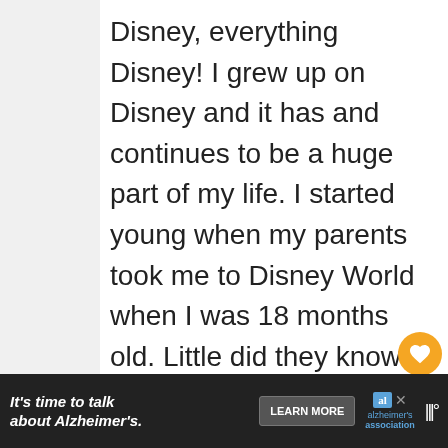Disney, everything Disney! I grew up on Disney and it has and continues to be a huge part of my life. I started young when my parents took me to Disney World when I was 18 months old. Little did they know that would be the first of an uncountable number of trips we would take. I have so many amazing memories going to
[Figure (screenshot): What's Next panel showing NBA Experience article thumbnail with orange label arrow]
[Figure (screenshot): Advertisement banner for Alzheimer's Association: 'It's time to talk about Alzheimer's.' with Learn More button and Alzheimer's Association logo]